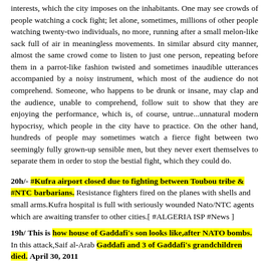interests, which the city imposes on the inhabitants. One may see crowds of people watching a cock fight; let alone, sometimes, millions of other people watching twenty-two individuals, no more, running after a small melon-like sack full of air in meaningless movements. In similar absurd city manner, almost the same crowd come to listen to just one person, repeating before them in a parrot-like fashion twisted and sometimes inaudible utterances accompanied by a noisy instrument, which most of the audience do not comprehend. Someone, who happens to be drunk or insane, may clap and the audience, unable to comprehend, follow suit to show that they are enjoying the performance, which is, of course, untrue...unnatural modern hypocrisy, which people in the city have to practice. On the other hand, hundreds of people may sometimes watch a fierce fight between two seemingly fully grown-up sensible men, but they never exert themselves to separate them in order to stop the bestial fight, which they could do.
20h/- #Kufra airport closed due to fighting between Toubou tribe & #NTC barbarians. Resistance fighters fired on the planes with shells and small arms.Kufra hospital is full with seriously wounded Nato/NTC agents which are awaiting transfer to other cities.[ #ALGERIA ISP #News ]
19h/ This is how house of Gaddafi's son looks like,after NATO bombs. In this attack,Saif al-Arab Gaddafi and 3 of Gaddafi's grandchildren died. April 30, 2011